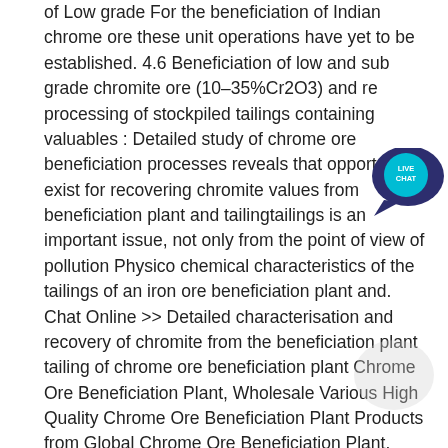of Low grade For the beneficiation of Indian chrome ore these unit operations have yet to be established. 4.6 Beneficiation of low and sub grade chromite ore (10–35%Cr2O3) and re processing of stockpiled tailings containing valuables : Detailed study of chrome ore beneficiation processes reveals that opportunities exist for recovering chromite values from beneficiation plant and tailingtailings is an important issue, not only from the point of view of pollution Physico chemical characteristics of the tailings of an iron ore beneficiation plant and. Chat Online >> Detailed characterisation and recovery of chromite from the beneficiation plant tailing of chrome ore beneficiation plant Chrome Ore Beneficiation Plant, Wholesale Various High Quality Chrome Ore Beneficiation Plant Products from Global Chrome Ore Beneficiation Plant. Recovery of Chromite Values from Plant Tailings by Gravity . Key Words: Chromite Plant Tailing, Beneficiation, Table, Modeling, . or amenability of the gravity concentration process Metal Mineral
[Figure (other): Live Chat bubble icon — circular dark blue/navy speech bubble with 'LIVE CHAT' text in teal/cyan]